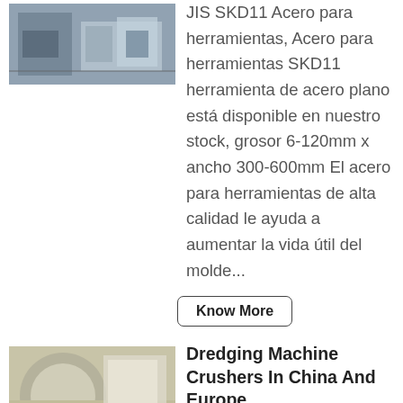[Figure (photo): Industrial machinery photo, grey/blue tones, factory equipment]
JIS SKD11 Acero para herramientas, Acero para herramientas SKD11 herramienta de acero plano está disponible en nuestro stock, grosor 6-120mm x ancho 300-600mm El acero para herramientas de alta calidad le ayuda a aumentar la vida útil del molde...
Know More
[Figure (photo): Industrial dredging or crushing machine photo, beige/white tones]
Dredging Machine Crushers In China And Europe
Jis Hung Crusher China - carteaverde jis hung crusher china - YouTube Shanghai machinery As a leading Mechanical Equipment dredging machine crushers in china and europe